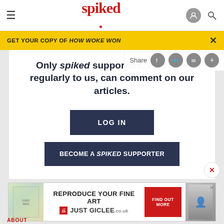spiked
GET YOUR COPY OF HOW WOKE WON
Only spiked supporters, who give regularly to us, can comment on our articles.
LOG IN
BECOME A SPIKED SUPPORTER
[Figure (screenshot): Advertisement banner: REPRODUCE YOUR FINE ART / JUST GICLEE]
ABOUT